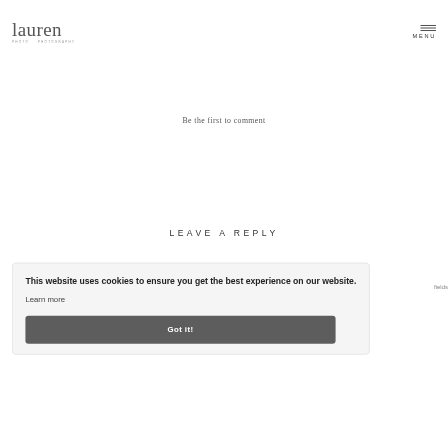Lauren — MENU
Be the first to comment
LEAVE A REPLY
fields
This website uses cookies to ensure you get the best experience on our website.
Learn more
Got it!